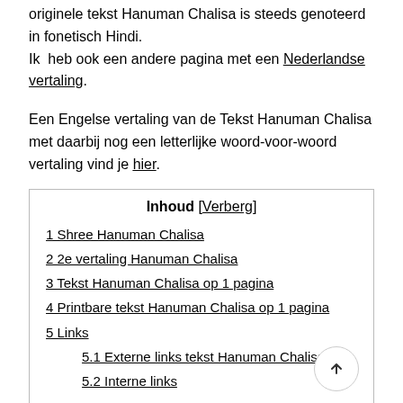originele tekst Hanuman Chalisa is steeds genoteerd in fonetisch Hindi.
Ik heb ook een andere pagina met een Nederlandse vertaling.
Een Engelse vertaling van de Tekst Hanuman Chalisa met daarbij nog een letterlijke woord-voor-woord vertaling vind je hier.
Inhoud [Verberg]
1 Shree Hanuman Chalisa
2 2e vertaling Hanuman Chalisa
3 Tekst Hanuman Chalisa op 1 pagina
4 Printbare tekst Hanuman Chalisa op 1 pagina
5 Links
5.1 Externe links tekst Hanuman Chalisa
5.2 Interne links